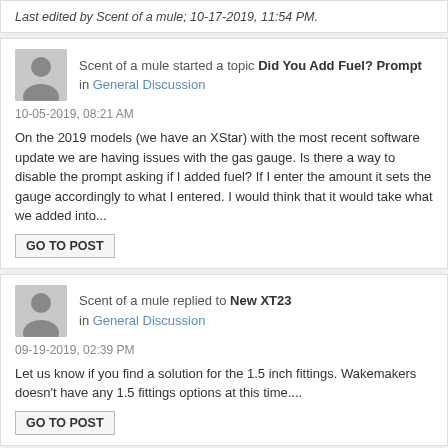Last edited by Scent of a mule; 10-17-2019, 11:54 PM.
Scent of a mule started a topic Did You Add Fuel? Prompt in General Discussion
10-05-2019, 08:21 AM
On the 2019 models (we have an XStar) with the most recent software update we are having issues with the gas gauge. Is there a way to disable the prompt asking if I added fuel? If I enter the amount it sets the gauge accordingly to what I entered. I would think that it would take what we added into...
GO TO POST
Scent of a mule replied to New XT23 in General Discussion
09-19-2019, 02:39 PM
Let us know if you find a solution for the 1.5 inch fittings. Wakemakers doesn't have any 1.5 fittings options at this time....
GO TO POST
Scent of a mule replied to Tab problem - '19 X Star? in General Discussion